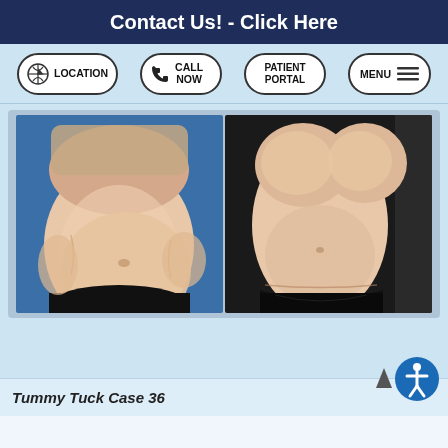Contact Us! - Click Here
LOCATION | CALL NOW | PATIENT PORTAL | MENU
[Figure (photo): Before and after photos of a tummy tuck procedure. Left image shows a before photo with excess abdominal tissue against a blue background, wearing a black bikini bottom. Right image shows an after photo with a flatter abdomen against a dark background, wearing a black thong.]
Tummy Tuck Case 36